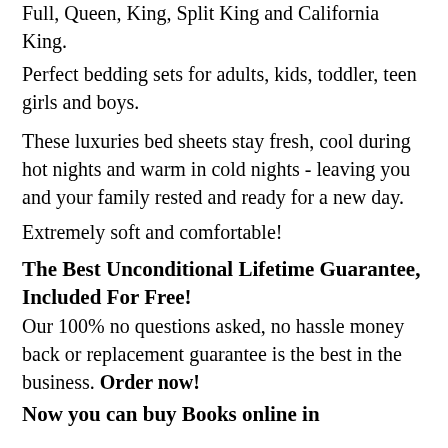Full, Queen, King, Split King and California King.
Perfect bedding sets for adults, kids, toddler, teen girls and boys.
These luxuries bed sheets stay fresh, cool during hot nights and warm in cold nights - leaving you and your family rested and ready for a new day.
Extremely soft and comfortable!
The Best Unconditional Lifetime Guarantee, Included For Free!
Our 100% no questions asked, no hassle money back or replacement guarantee is the best in the business. Order now!
Now you can buy Books online in